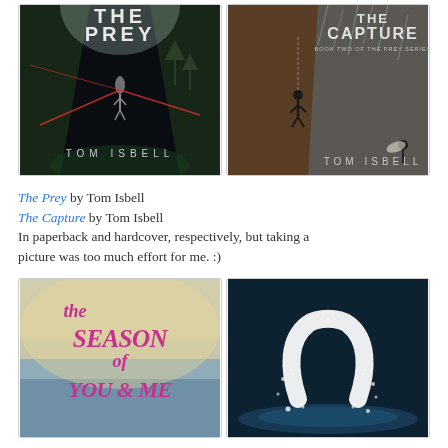[Figure (photo): Two book covers side by side: left is 'The Prey' by Tom Isbell (dark sci-fi/thriller cover with a figure in a canyon with laser beams), right is 'The Capture' by Tom Isbell (dark adventure cover with a figure climbing a cliff in rain)]
The Prey by Tom Isbell
The Capture by Tom Isbell
In paperback and hardcover, respectively, but taking a picture was too much effort for me. :)
[Figure (photo): Two book covers side by side: left is 'The Season of You & Me' (colorful cover with pink text over ocean background), right is a dark teal/black cover with a white crescent or horseshoe-shaped object splashing in water]